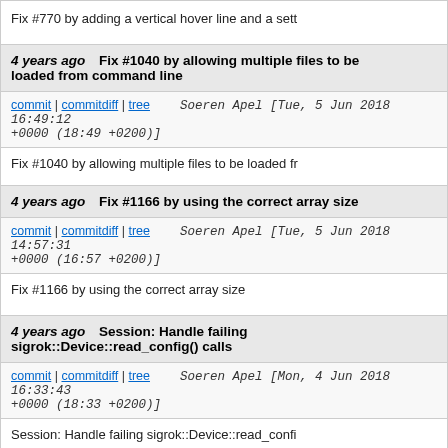Fix #770 by adding a vertical hover line and a sett
4 years ago   Fix #1040 by allowing multiple files to be loaded from command line
commit | commitdiff | tree   Soeren Apel [Tue, 5 Jun 2018 16:49:12 +0000 (18:49 +0200)]
Fix #1040 by allowing multiple files to be loaded fr
4 years ago   Fix #1166 by using the correct array size
commit | commitdiff | tree   Soeren Apel [Tue, 5 Jun 2018 14:57:31 +0000 (16:57 +0200)]
Fix #1166 by using the correct array size
4 years ago   Session: Handle failing sigrok::Device::read_config() calls
commit | commitdiff | tree   Soeren Apel [Mon, 4 Jun 2018 16:33:43 +0000 (18:33 +0200)]
Session: Handle failing sigrok::Device::read_confi
4 years ago   device.cpp: Add SR_CONF_EXTERNAL_CLOCK_SOURCE